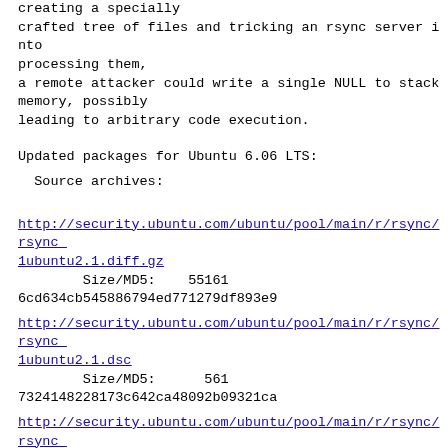creating a specially
crafted tree of files and tricking an rsync server into
processing them,
a remote attacker could write a single NULL to stack
memory, possibly
leading to arbitrary code execution.
Updated packages for Ubuntu 6.06 LTS:
Source archives:
http://security.ubuntu.com/ubuntu/pool/main/r/rsync/rsync_2.6.6-1ubuntu2.1.diff.gz
        Size/MD5:    55161
6cd634cb545886794ed771279df893e9
http://security.ubuntu.com/ubuntu/pool/main/r/rsync/rsync_2.6.6-1ubuntu2.1.dsc
        Size/MD5:      561
7324148228173c642ca48092b09321ca
http://security.ubuntu.com/ubuntu/pool/main/r/rsync/rsync...
        Size/MD5:   690066
30c4e2849cbeae93f55548453865c2f2
amd64 architecture (Athlon64, Opteron, EM64T Xeon)
http://security.ubuntu.com/ubuntu/pool/main/r/rsync/rsync...